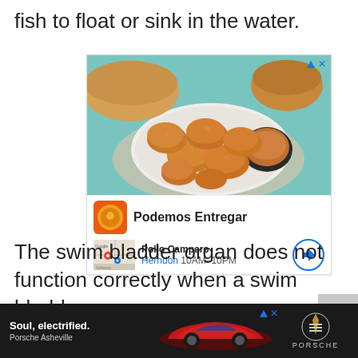fish to float or sink in the water.
[Figure (photo): Advertisement showing fried chicken pieces on a white plate with dipping sauce and bread in the background. Below the food image is a Pollo Campero ad with logo, brand name 'Podemos Entregar', location map thumbnail showing 'Pollo Campero Herndon 10AM-10PM', and a direction button.]
The swim bladder organ does not function correctly when a swim bladder
[Figure (photo): Advertisement for Porsche Asheville featuring a red electric car with tagline 'Soul, electrified.' and Porsche logo on black background.]